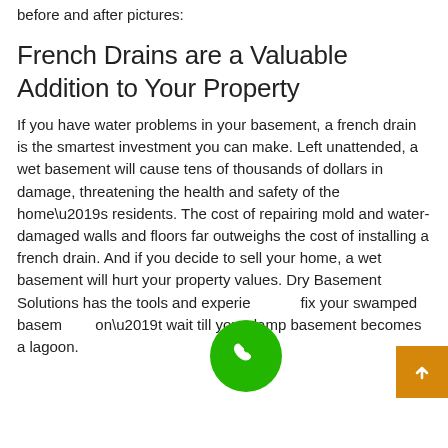before and after pictures:
French Drains are a Valuable Addition to Your Property
If you have water problems in your basement, a french drain is the smartest investment you can make. Left unattended, a wet basement will cause tens of thousands of dollars in damage, threatening the health and safety of the home’s residents. The cost of repairing mold and water-damaged walls and floors far outweighs the cost of installing a french drain. And if you decide to sell your home, a wet basement will hurt your property values. Dry Basement Solutions has the tools and experience to fix your swamped basement. Don’t wait till your damp basement becomes a lagoon. Make the smart choice and give the